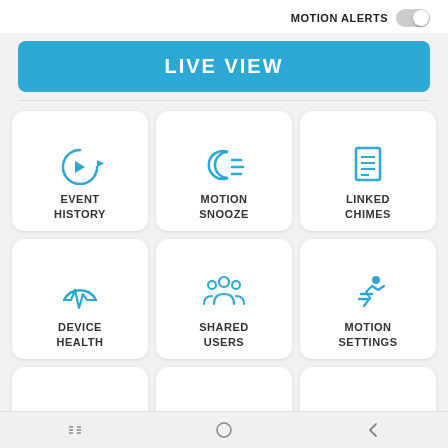MOTION ALERTS
[Figure (screenshot): LIVE VIEW button - blue rounded rectangle with white bold text]
[Figure (infographic): 3x3 grid of app menu icons: EVENT HISTORY (play with circular arrow), MOTION SNOOZE (crescent with lines), LINKED CHIMES (document), DEVICE HEALTH (heartbeat monitor), SHARED USERS (group of people), MOTION SETTINGS (running person), APP ALERT (arch/bell), VIDEO (monitor with camera), PARTNERS (chain link)]
Navigation bar with three icons: grid, circle, back arrow